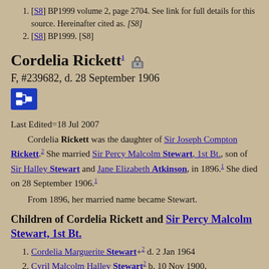[S8] BP1999 volume 2, page 2704. See link for full details for this source. Hereinafter cited as. [S8]
[S8] BP1999. [S8]
Cordelia Rickett
F, #239682, d. 28 September 1906
Last Edited=18 Jul 2007
Cordelia Rickett was the daughter of Sir Joseph Compton Rickett.2 She married Sir Percy Malcolm Stewart, 1st Bt., son of Sir Halley Stewart and Jane Elizabeth Atkinson, in 1896.1 She died on 28 September 1906.1
From 1896, her married name became Stewart.
Children of Cordelia Rickett and Sir Percy Malcolm Stewart, 1st Bt.
Cordelia Marguerite Stewart+2 d. 2 Jan 1964
Cyril Malcolm Halley Stewart2 b. 10 Nov 1900,